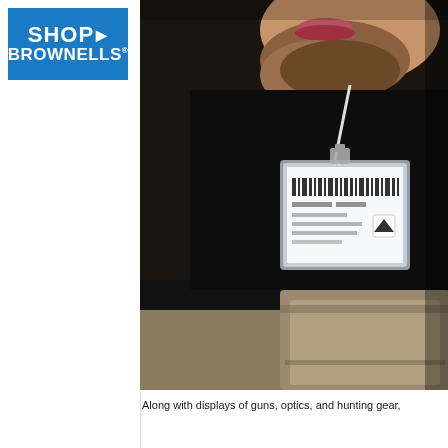[Figure (logo): SHOP BROWNELLS logo — blue rectangle with white bold text 'SHOP' with arrow and 'BROWNELLS' below with registered trademark symbol]
[Figure (photo): Close-up photo of a man with beard wearing a conference/trade show badge on a lanyard, holding or looking at a piece of equipment. Background is dark/black.]
Along with displays of guns, optics, and hunting gear,